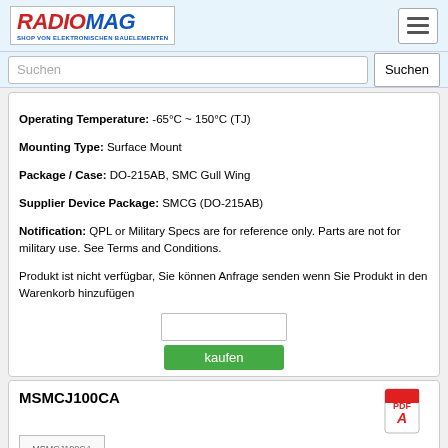[Figure (logo): RADIOMAG logo - red italic text with blue subtitle 'SHOP VON ELEKTRONISCHEN BAUELEMENTEN']
Suchen
Operating Temperature: -65°C ~ 150°C (TJ)
Mounting Type: Surface Mount
Package / Case: DO-215AB, SMC Gull Wing
Supplier Device Package: SMCG (DO-215AB)
Notification: QPL or Military Specs are for reference only. Parts are not for military use. See Terms and Conditions.
Produkt ist nicht verfügbar, Sie können Anfrage senden wenn Sie Produkt in den Warenkorb hinzufügen
kaufen
MSMCJ100CA
[Figure (other): PDF icon - red Adobe PDF logo]
[Figure (other): MSMCJ100CA product image placeholder]
Hersteller: Microsemi Corporation
Description: TVS DIODE 100V 162V DO214AB
Power - Peak Pulse: 1500W (1.5kW)
Current - Peak Pulse (10/1000µs): 9.3A
Voltage - Clamping (Max) @ Ipp: 162V
Voltage - Breakdown (Min): 111V
Voltage - Reverse Standoff (Typ): 100V